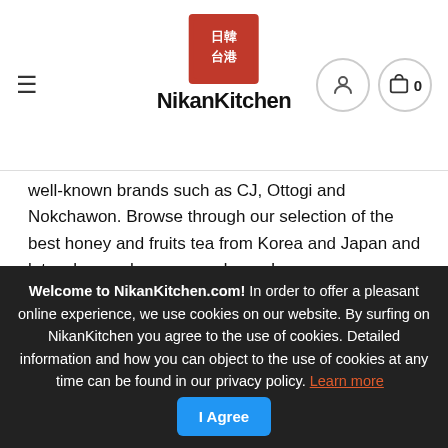[Figure (logo): NikanKitchen logo with red box containing Japanese/Chinese characters and brand name text below]
well-known brands such as CJ, Ottogi and Nokchawon. Browse through our selection of the best honey and fruits tea from Korea and Japan and let us know when we need more!
🍴 More Honig and Fruits Tea!
Over 20,000 customers love our
Welcome to NikanKitchen.com! In order to offer a pleasant online experience, we use cookies on our website. By surfing on NikanKitchen you agree to the use of cookies. Detailed information and how you can object to the use of cookies at any time can be found in our privacy policy. Learn more  I Agree